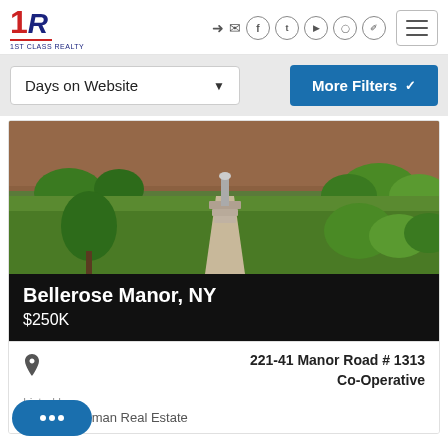[Figure (logo): 1R 1ST CLASS REALTY logo with red numeral 1 and navy R]
[Figure (screenshot): Navigation icons: login, email, Facebook, Twitter, YouTube, Instagram, Pinterest]
[Figure (other): Hamburger menu button (three horizontal lines)]
Days on Website
More Filters
[Figure (photo): Exterior photo of a brick building with green lawn, walkway, steps, and shrubs]
Bellerose Manor, NY
$250K
221-41 Manor Road # 1313
Co-Operative
Listed by:
Douglas Elliman Real Estate